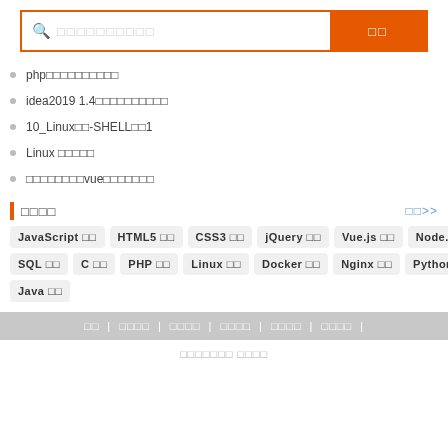[Figure (other): Search bar with orange search button]
php□□□□□□□□□□
idea2019 1.4□□□□□□□□□□
10_Linux□□-SHELL□□1
Linux □□□□□
□□□□□□□□vue□□□□□□□
□□□□
□□>>
JavaScript □□  HTML5 □□  CSS3 □□  jQuery □□  Vue.js □□  Node.js □□  SQL □□  C □□  PHP □□  Linux □□  Docker □□  Nginx □□  Python □□  Java □□
□□ | □□□□ | □□□□ | □□□□ | □□□□ | □□□□ |
□□□□□□□ □□□□